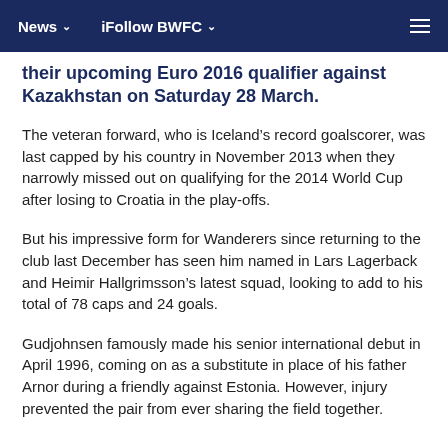News   iFollow BWFC
their upcoming Euro 2016 qualifier against Kazakhstan on Saturday 28 March.
The veteran forward, who is Iceland’s record goalscorer, was last capped by his country in November 2013 when they narrowly missed out on qualifying for the 2014 World Cup after losing to Croatia in the play-offs.
But his impressive form for Wanderers since returning to the club last December has seen him named in Lars Lagerback and Heimir Hallgrimsson’s latest squad, looking to add to his total of 78 caps and 24 goals.
Gudjohnsen famously made his senior international debut in April 1996, coming on as a substitute in place of his father Arnor during a friendly against Estonia. However, injury prevented the pair from ever sharing the field together.